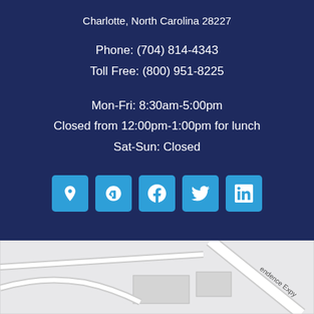Charlotte, North Carolina 28227
Phone: (704) 814-4343
Toll Free: (800) 951-8225
Mon-Fri: 8:30am-5:00pm
Closed from 12:00pm-1:00pm for lunch
Sat-Sun: Closed
[Figure (other): Row of five social media icon buttons: location pin, Yelp, Facebook, Twitter, LinkedIn]
[Figure (map): Partial street map showing roads near Independence Expressway in Charlotte, NC]